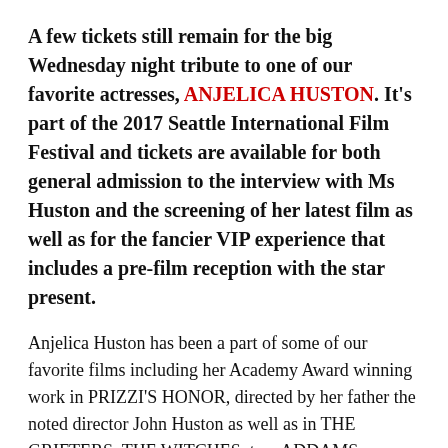A few tickets still remain for the big Wednesday night tribute to one of our favorite actresses, ANJELICA HUSTON. It's part of the 2017 Seattle International Film Festival and tickets are available for both general admission to the interview with Ms Huston and the screening of her latest film as well as for the fancier VIP experience that includes a pre-film reception with the star present.
Anjelica Huston has been a part of some of our favorite films including her Academy Award winning work in PRIZZI'S HONOR, directed by her father the noted director John Huston as well as in THE GRIFTERS, THE WITCHES, two ADDAMS FAMILY films and memorable and multiple works with both Woody Allen and Wes